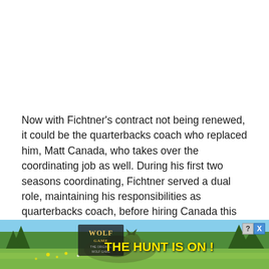Now with Fichtner's contract not being renewed, it could be the quarterbacks coach who replaced him, Matt Canada, who takes over the coordinating job as well. During his first two seasons coordinating, Fichtner served a dual role, maintaining his responsibilities as quarterbacks coach, before hiring Canada this past year.
While they have interviewed other candidates for the coordinator position, namely Hue Jackson and Pep Hamilton, the sen[...] ming favorit[...] rced
[Figure (other): Advertisement overlay: Wolf Game 'The Hunt Is On!' ad banner with wolves in a field, partially covering bottom text. Includes close (X) and help (?) buttons in top-right corner.]